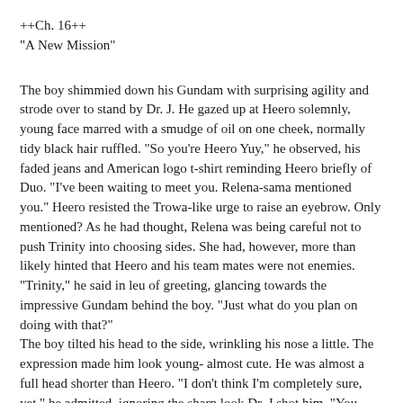++Ch. 16++
"A New Mission"
The boy shimmied down his Gundam with surprising agility and strode over to stand by Dr. J. He gazed up at Heero solemnly, young face marred with a smudge of oil on one cheek, normally tidy black hair ruffled. "So you're Heero Yuy," he observed, his faded jeans and American logo t-shirt reminding Heero briefly of Duo. "I've been waiting to meet you. Relena-sama mentioned you." Heero resisted the Trowa-like urge to raise an eyebrow. Only mentioned? As he had thought, Relena was being careful not to push Trinity into choosing sides. She had, however, more than likely hinted that Heero and his team mates were not enemies. "Trinity," he said in leu of greeting, glancing towards the impressive Gundam behind the boy. "Just what do you plan on doing with that?"
The boy tilted his head to the side, wrinkling his nose a little. The expression made him look young- almost cute. He was almost a full head shorter than Heero. "I don't think I'm completely sure, yet," he admitted, ignoring the sharp look Dr. J shot him. "You don't look stupid, Yuy-kun. You know Relena-sama sponsored this?"